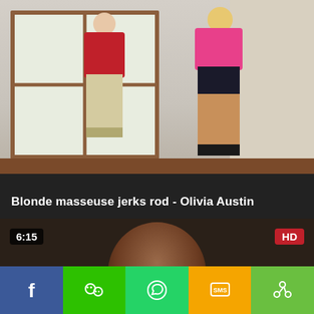[Figure (screenshot): Video thumbnail showing two people standing in a room - a man in a red shirt and khaki shorts, and a woman in a pink top and black shorts.]
Blonde masseuse jerks rod - Olivia Austin
[Figure (screenshot): Video thumbnail with 6:15 duration badge and HD badge, showing a person with dark hair.]
[Figure (infographic): Social sharing bar with buttons: Facebook (f), WeChat, WhatsApp, SMS, Share More]